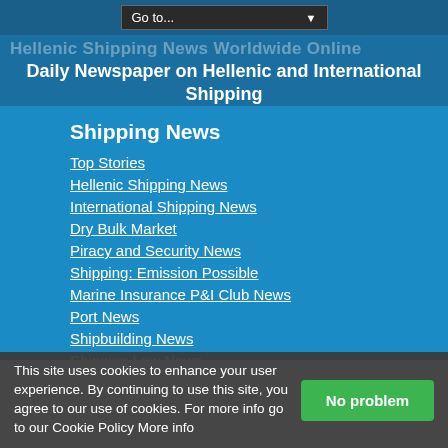Go to...
Hellenic Shipping News Worldwide Online
Daily Newspaper on Hellenic and International Shipping
Shipping News
Top Stories
Hellenic Shipping News
International Shipping News
Dry Bulk Market
Piracy and Security News
Shipping: Emission Possible
Marine Insurance P&I Club News
Port News
Shipbuilding News
Shipping Law News
Interviews
Recent Videos
This site uses cookies to enhance your user experience. By continuing to use this site, you agree to our use of cookies. For more info go to our Cookie Policy More info